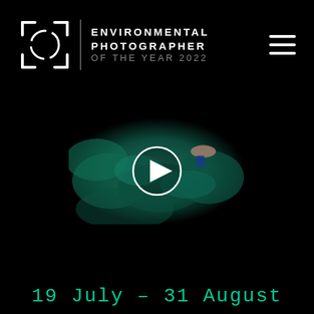[Figure (logo): Environmental Photographer of the Year 2022 logo with bracket/viewfinder icon and vertical divider]
[Figure (screenshot): Video thumbnail showing aerial view of person in conical hat on green fishing nets, with circular play button overlay]
19 July – 31 August